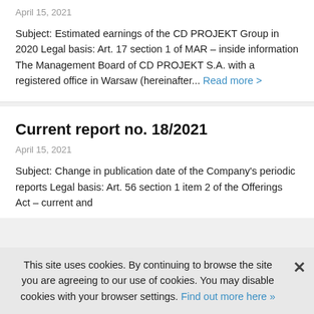April 15, 2021
Subject: Estimated earnings of the CD PROJEKT Group in 2020 Legal basis: Art. 17 section 1 of MAR – inside information The Management Board of CD PROJEKT S.A. with a registered office in Warsaw (hereinafter... Read more >
Current report no. 18/2021
April 15, 2021
Subject: Change in publication date of the Company's periodic reports Legal basis: Art. 56 section 1 item 2 of the Offerings Act – current and
This site uses cookies. By continuing to browse the site you are agreeing to our use of cookies. You may disable cookies with your browser settings. Find out more here »